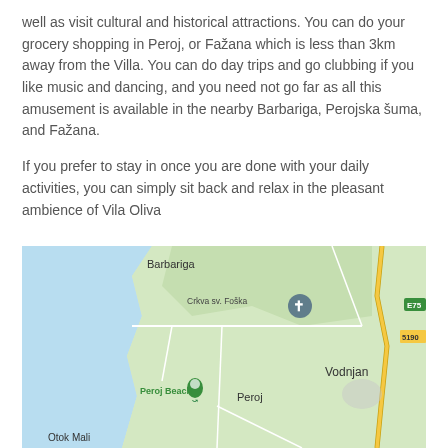well as visit cultural and historical attractions. You can do your grocery shopping in Peroj, or Fažana which is less than 3km away from the Villa. You can do day trips and go clubbing if you like music and dancing, and you need not go far as all this amusement is available in the nearby Barbariga, Perojska šuma, and Fažana.
If you prefer to stay in once you are done with your daily activities, you can simply sit back and relax in the pleasant ambience of Vila Oliva
[Figure (map): Google Maps screenshot showing the coastal area around Peroj, Croatia. Shows Barbariga to the north, Crkva sv. Foška (church marker), Peroj Beach with a green location pin, Peroj settlement, Vodnjan town, and route E75 / road 5190. Blue water (Adriatic Sea) on the left, green land areas, yellow highway running along the right side.]